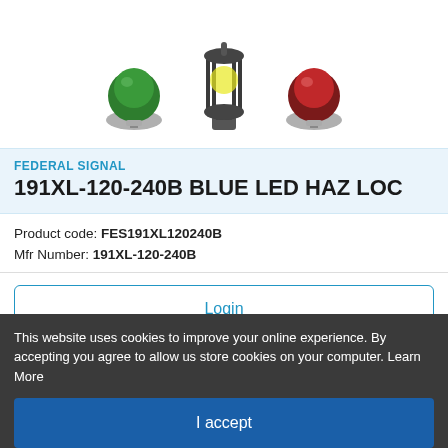[Figure (photo): Three industrial hazardous location signal lights/beacons: a green dome light on the left, a black cage-style beacon in the center, and a red dome light on the right, shown from above on a white background.]
FEDERAL SIGNAL
191XL-120-240B BLUE LED HAZ LOC
Product code: FES191XL120240B
Mfr Number: 191XL-120-240B
Login
This website uses cookies to improve your online experience. By accepting you agree to allow us store cookies on your computer. Learn More
I accept